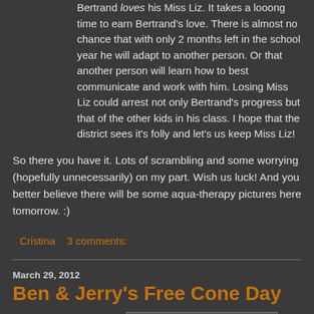Bertrand loves his Miss Liz. It takes a looong time to earn Bertrand's love. There is almost no chance that with only 2 months left in the school year he will adapt to another person. Or that another person will learn how to best communicate and work with him. Losing Miss Liz could arrest not only Bertrand's progress but that of the other kids in his class. I hope that the district sees it's folly and let's us keep Miss Liz!
So there you have it. Lots of scrambling and some worrying (hopefully unnecessarily) on my part. Wish us luck! And you better believe there will be some aqua-therapy pictures here tomorrow. :)
Cristina   3 comments:
March 29, 2012
Ben & Jerry's Free Cone Day
[Figure (photo): Thumbnail image partially visible at bottom of page]